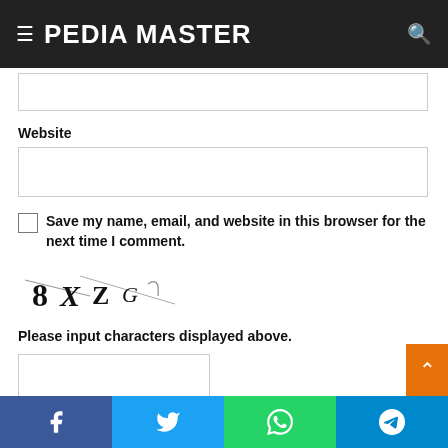PEDIA MASTER
Website
Save my name, email, and website in this browser for the next time I comment.
[Figure (other): CAPTCHA image showing characters: 8 X Z G with strikethrough lines]
Please input characters displayed above.
Facebook | Twitter | WhatsApp | Telegram